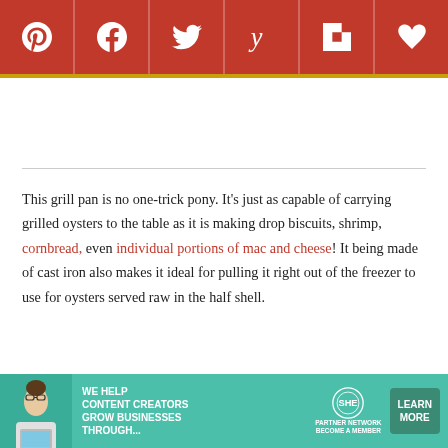[Figure (infographic): Social sharing bar with icons for Pinterest, Facebook, Twitter, Yummly, Flipboard, and a heart/favorite button, all on a dark red background with a gold/yellow bottom border]
This grill pan is no one-trick pony. It's just as capable of carrying grilled oysters to the table as it is making drop biscuits, shrimp, cornbread, even individual portions of mac and cheese! It being made of cast iron also makes it ideal for pulling it right out of the freezer to use for oysters served raw in the half shell.
[Figure (infographic): Advertisement banner for SHE Media Partner Network: 'We help content creators grow businesses through...' with photo of woman with laptop, SHE logo, and 'Learn More' button on teal background]